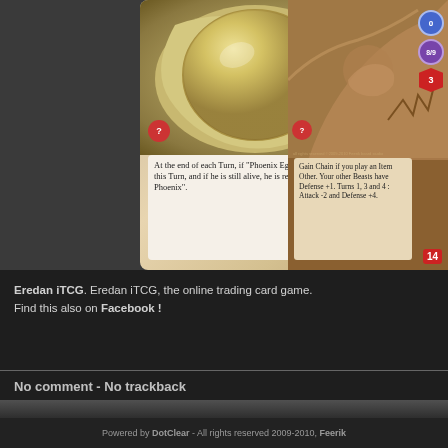[Figure (illustration): Two trading cards from Eredan iTCG game. Left card shows a Phoenix Egg with golden background, right card shows a Beast creature with brown/orange coloring. Cards display various stats including attack, defense, and health values.]
Eredan iTCG. Eredan iTCG, the online trading card game. Find this also on Facebook !
No comment - No trackback
Powered by DotClear - All rights reserved 2009-2010, Feerik